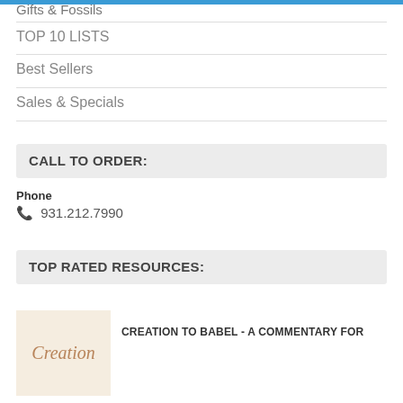Gifts & Fossils
TOP 10 LISTS
Best Sellers
Sales & Specials
CALL TO ORDER:
Phone
931.212.7990
TOP RATED RESOURCES:
[Figure (logo): Creation book logo image]
CREATION TO BABEL - A COMMENTARY FOR